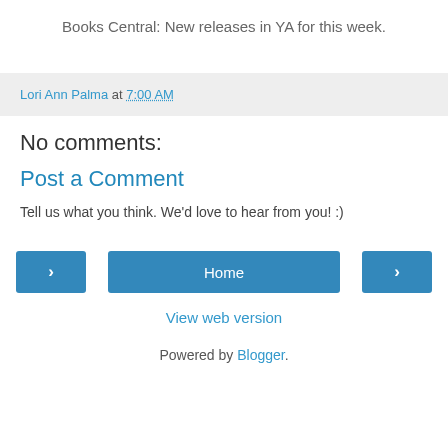Books Central: New releases in YA for this week.
Lori Ann Palma at 7:00 AM
No comments:
Post a Comment
Tell us what you think. We'd love to hear from you! :)
< Home >
View web version
Powered by Blogger.